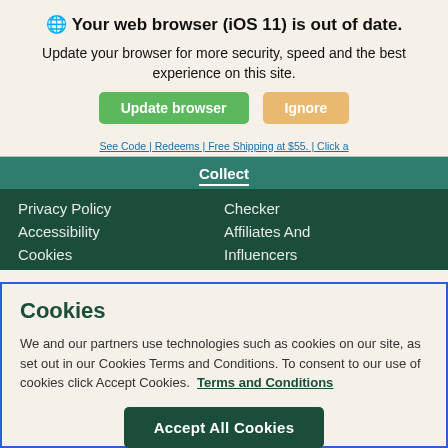🌐 Your web browser (iOS 11) is out of date.
Update your browser for more security, speed and the best experience on this site.
Update browser  |  Ignore
See Code | Redeems | Free Shipping at $55. | Click a
Collect
Privacy Policy
Checker
Accessibility
Affiliates And
Cookies
Influencers
Cookies
We and our partners use technologies such as cookies on our site, as set out in our Cookies Terms and Conditions. To consent to our use of cookies click Accept Cookies.  Terms and Conditions
Accept All Cookies